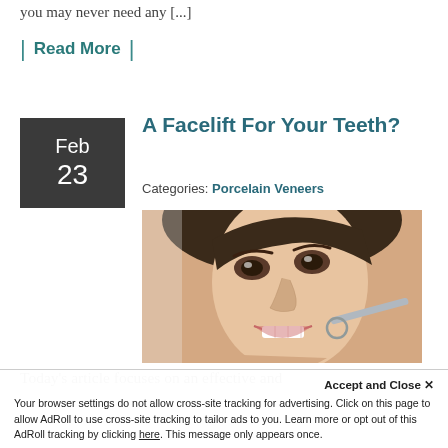you may never need any [...]
| Read More |
A Facelift For Your Teeth?
Categories: Porcelain Veneers
[Figure (photo): Close-up photo of a smiling woman holding a dental mirror tool near her mouth, showing white teeth]
Today's article focuses on an effective and
Accept and Close ✕
Your browser settings do not allow cross-site tracking for advertising. Click on this page to allow AdRoll to use cross-site tracking to tailor ads to you. Learn more or opt out of this AdRoll tracking by clicking here. This message only appears once.